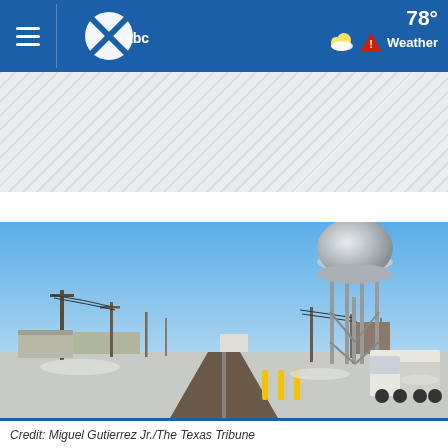WFAA abc — 78° Weather
[Figure (photo): A flat road stretching into the distance through an industrial area with a large silver water tower on the right side, power lines, snowy ground, and a white semi-truck. Blue sky with no clouds. Winter scene in Texas.]
Credit: Miguel Gutierrez Jr./The Texas Tribune